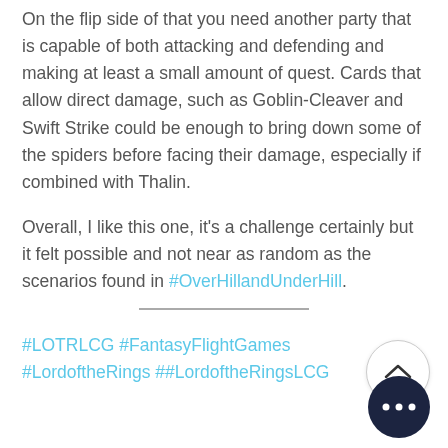On the flip side of that you need another party that is capable of both attacking and defending and making at least a small amount of quest. Cards that allow direct damage, such as Goblin-Cleaver and Swift Strike could be enough to bring down some of the spiders before facing their damage, especially if combined with Thalin.
Overall, I like this one, it's a challenge certainly but it felt possible and not near as random as the scenarios found in #OverHillandUnderHill.
#LOTRLCG #FantasyFlightGames #LordoftheRings ##LordoftheRingsLCG